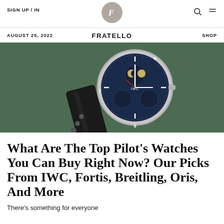SIGN UP/IN  FRATELLO  SHOP
AUGUST 25, 2022
[Figure (photo): Close-up photo of an IWC pilot's watch with a blue dial showing a perpetual calendar complication with moon phase indicator, on a green fabric background.]
What Are The Top Pilot's Watches You Can Buy Right Now? Our Picks From IWC, Fortis, Breitling, Oris, And More
There's something for everyone